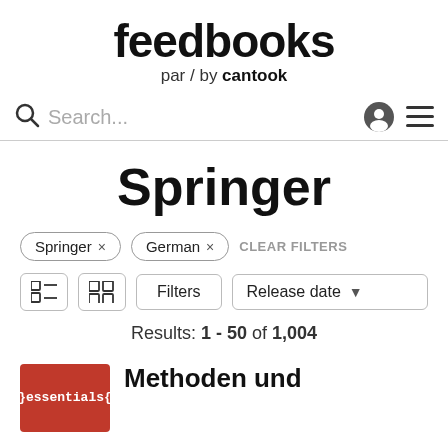[Figure (logo): Feedbooks par/by cantook logo]
Search... [user icon] [menu icon]
Springer
Springer ×
German ×
CLEAR FILTERS
Filters  Release date ▾
Results: 1 - 50 of 1,004
Methoden und